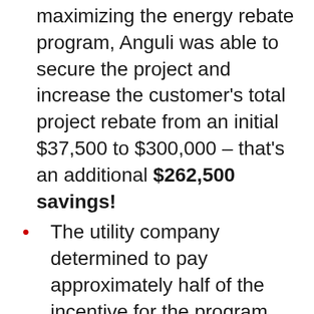maximizing the energy rebate program, Anguli was able to secure the project and increase the customer's total project rebate from an initial $37,500 to $300,000 – that's an additional $262,500 savings!
The utility company determined to pay approximately half of the incentive for the program year 2020 and the balance in 2021 to better accommodate